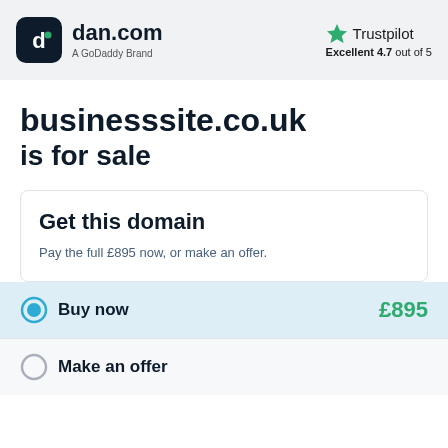dan.com — A GoDaddy Brand | Trustpilot Excellent 4.7 out of 5
businesssite.co.uk is for sale
Get this domain
Pay the full £895 now, or make an offer.
Buy now £895
Make an offer